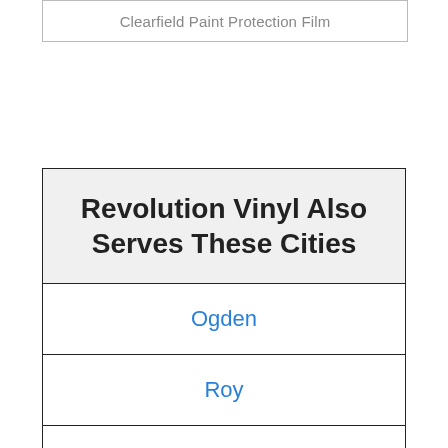Clearfield Paint Protection Film
| Revolution Vinyl Also Serves These Cities |
| --- |
| Ogden |
| Roy |
| Kaysville |